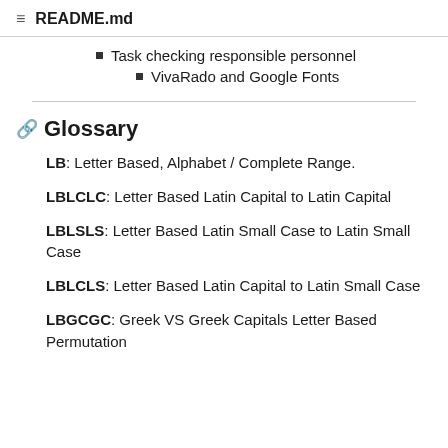README.md
Task checking responsible personnel
VivaRado and Google Fonts
Glossary
LB: Letter Based, Alphabet / Complete Range.
LBLCLC: Letter Based Latin Capital to Latin Capital
LBLSLS: Letter Based Latin Small Case to Latin Small Case
LBLCLS: Letter Based Latin Capital to Latin Small Case
LBGCGC: Greek VS Greek Capitals Letter Based Permutation